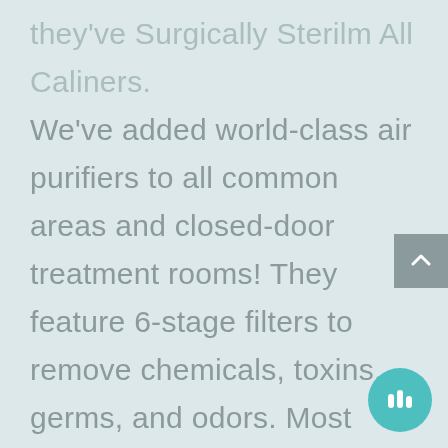they've surgically sterilm all caliners. We've added world-class air purifiers to all common areas and closed-door treatment rooms! They feature 6-stage filters to remove chemicals, toxins, germs, and odors. Most importantly, these medical-grade air purifiers kill airborne viruses and bacteria, to help reduce the spread of illness.